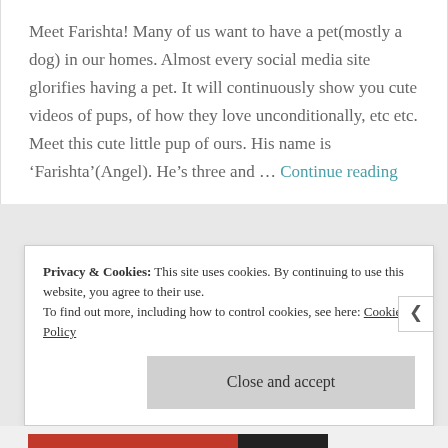Meet Farishta! Many of us want to have a pet(mostly a dog) in our homes. Almost every social media site glorifies having a pet. It will continuously show you cute videos of pups, of how they love unconditionally, etc etc. Meet this cute little pup of ours. His name is 'Farishta'(Angel). He's three and ... Continue reading
Privacy & Cookies: This site uses cookies. By continuing to use this website, you agree to their use. To find out more, including how to control cookies, see here: Cookie Policy
Close and accept